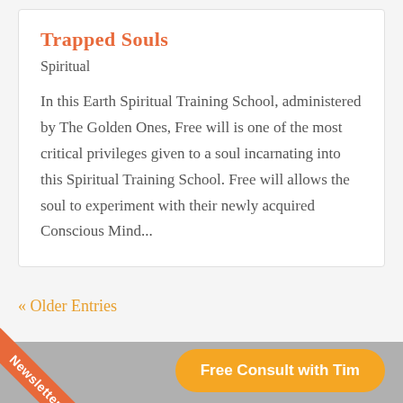Trapped Souls
Spiritual
In this Earth Spiritual Training School, administered by The Golden Ones, Free will is one of the most critical privileges given to a soul incarnating into this Spiritual Training School. Free will allows the soul to experiment with their newly acquired Conscious Mind...
« Older Entries
Newsletter
Free Consult with Tim